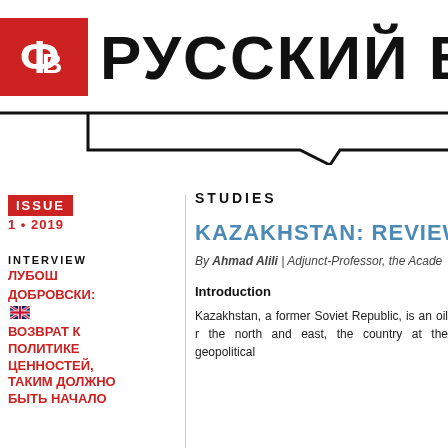РУССКИЙ ВО
[Figure (logo): Red square with stylized Cyrillic Ф letter logo for Русский Вопрос publication, with speech bubble/arrow graphic below the title]
ISSUE
INTERVIEW
ЛУБОШ ДОБРОВСКИ: ВОЗВРАТ К ПОЛИТИКЕ ЦЕННОСТЕЙ, ТАКИМ ДОЛЖНО БЫТЬ НАЧАЛО
STUDIES
KAZAKHSTAN: REVIEWING
By Ahmad Alili | Adjunct-Professor, the Acade
Introduction
Kazakhstan, a former Soviet Republic, is an oil r the north and east, the country at the geopolitical